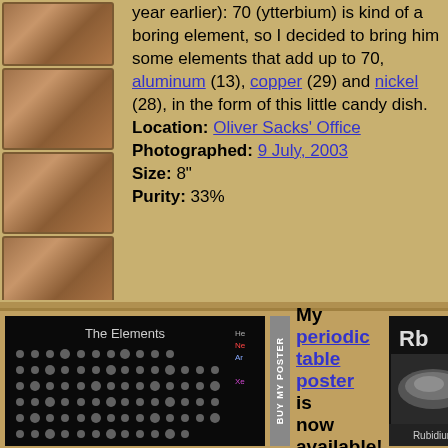year earlier): 70 (ytterbium) is kind of a boring element, so I decided to bring him some elements that add up to 70, aluminum (13), copper (29) and nickel (28), in the form of this little candy dish. Location: Oliver Sacks' Office Photographed: 9 July, 2003 Size: 8" Purity: 33%
[Figure (photo): Periodic table poster showing element samples]
My periodic table poster is now available!
[Figure (photo): Rubidium element sample photo]